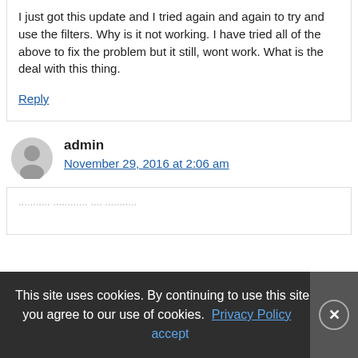I just got this update and I tried again and again to try and use the filters. Why is it not working. I have tried all of the above to fix the problem but it still, wont work. What is the deal with this thing.
Reply
admin
November 29, 2016 at 2:06 am
This site uses cookies. By continuing to use this site you agree to our use of cookies. Privacy Policy   accept